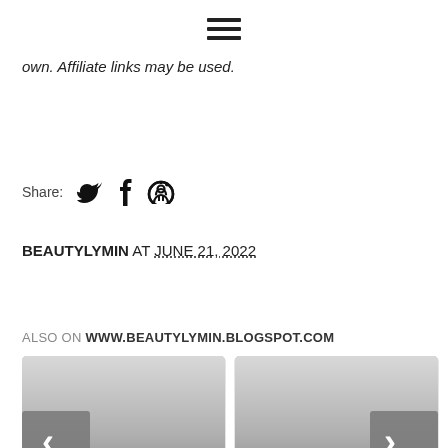hamburger menu icon
own. Affiliate links may be used.
Share:
BEAUTYLYMIN AT JUNE 21, 2022
ALSO ON WWW.BEAUTYLYMIN.BLOGSPOT.COM
[Figure (screenshot): Two blog post preview cards side by side. Left card: '3 months ago • 21 comments' with title 'What I loved in'. Right card: '2 months ago • 11 comments' with title 'What I loved in'. Navigation arrows on sides.]